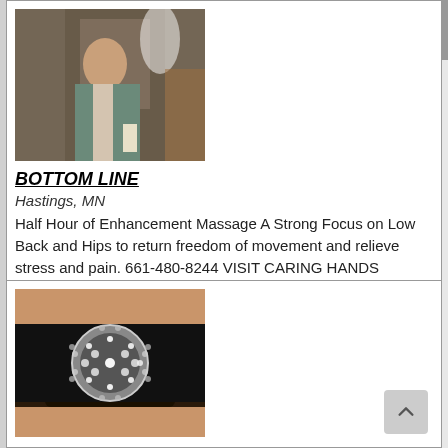[Figure (photo): Woman in spa robe holding a candle, standing near flowers and ambient lighting]
BOTTOM LINE
Hastings, MN
Half Hour of Enhancement Massage A Strong Focus on Low Back and Hips to return freedom of movement and relieve stress and pain. 661-480-8244 VISIT CARING HANDS WEBSITE ... more
100 @ $50.00 / Half Hour
[Figure (photo): Close-up of a bedazzled belt buckle with rhinestones and crystals]